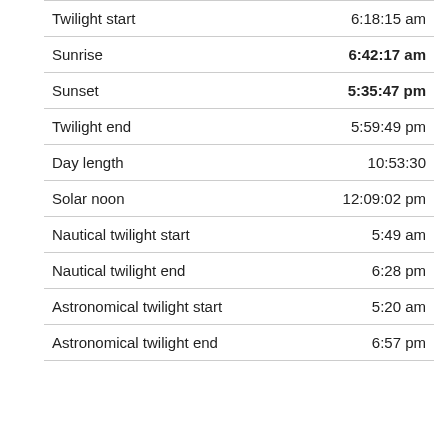|  |  |
| --- | --- |
| Twilight start | 6:18:15 am |
| Sunrise | 6:42:17 am |
| Sunset | 5:35:47 pm |
| Twilight end | 5:59:49 pm |
| Day length | 10:53:30 |
| Solar noon | 12:09:02 pm |
| Nautical twilight start | 5:49 am |
| Nautical twilight end | 6:28 pm |
| Astronomical twilight start | 5:20 am |
| Astronomical twilight end | 6:57 pm |